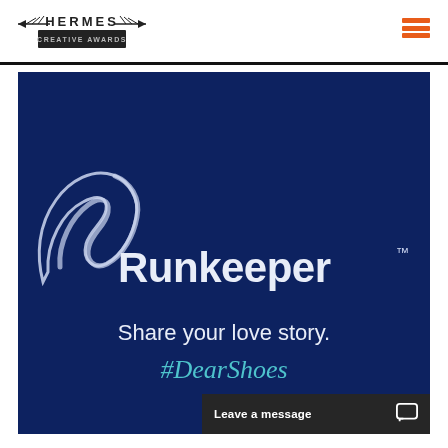HERMES CREATIVE AWARDS
[Figure (logo): Hermes Creative Awards logo with wings and banner]
[Figure (photo): Dark navy blue background with ASICS Runkeeper logo, text: Share your love story. #DearShoes]
Leave a message